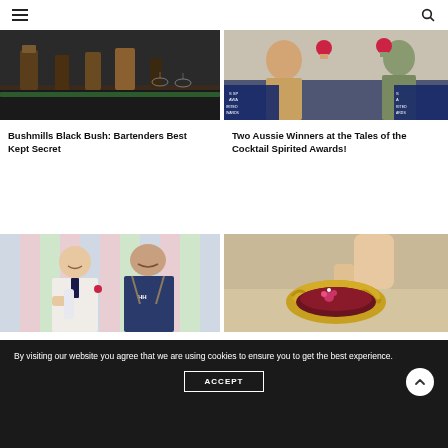Navigation header with hamburger menu and search icon
[Figure (photo): Photo of bottles on a bar shelf, dark moody interior]
[Figure (photo): Two people at Tales of the Cocktail Spirited Awards holding drinks]
Bushmills Black Bush: Bartenders Best Kept Secret
Two Aussie Winners at the Tales of the Cocktail Spirited Awards!
[Figure (photo): Two bartenders in aprons smiling and holding a bottle in front of a colorful striped wall]
[Figure (photo): Hand holding a golden fluted bowl containing a dark red cocktail with a floral garnish]
By visiting our website you agree that we are using cookies to ensure you to get the best experience.
ACCEPT